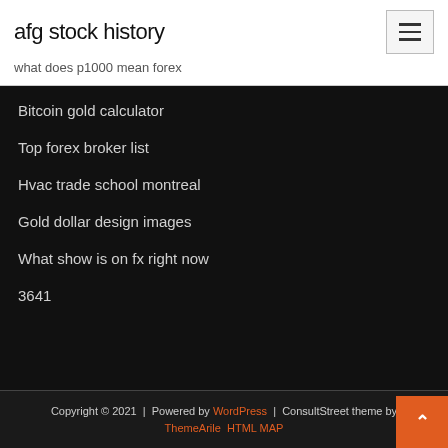afg stock history
what does p1000 mean forex
Bitcoin gold calculator
Top forex broker list
Hvac trade school montreal
Gold dollar design images
What show is on fx right now
3641
Copyright © 2021 | Powered by WordPress | ConsultStreet theme by ThemeArile HTML MAP